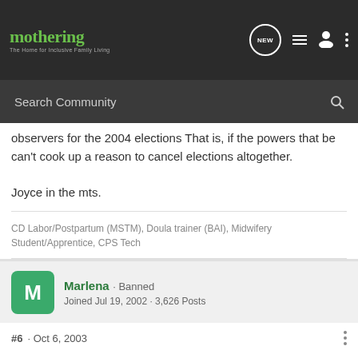mothering · The Home for Inclusive Family Living
observers for the 2004 elections  That is, if the powers that be can't cook up a reason to cancel elections altogether.

Joyce in the mts.
CD Labor/Postpartum (MSTM), Doula trainer (BAI), Midwifery Student/Apprentice, CPS Tech
Reply  Quote
Marlena · Banned
Joined Jul 19, 2002 · 3,626 Posts
#6 · Oct 6, 2003